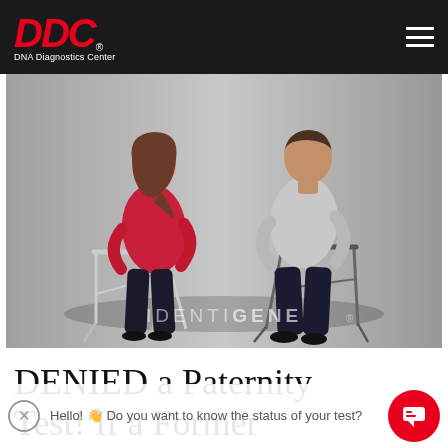DDC DNA Diagnostics Center
[Figure (photo): A man and woman sitting back-to-back on chairs, arms crossed, in a conflict pose. Woman wears red top, man wears grey. IDENTIGENE watermark at bottom of image.]
DENIED a Paternity Test! If a Former Partner Refuses
Hello! 👋 Do you want to know the status of your test?